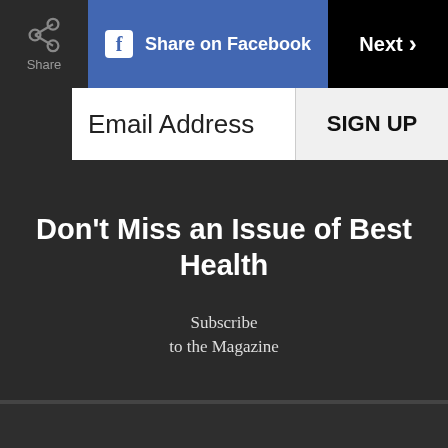Share | Share on Facebook | Next
Email Address
SIGN UP
Don't Miss an Issue of Best Health
Subscribe
to the Magazine
Beauty
Food
Wellness
Contests